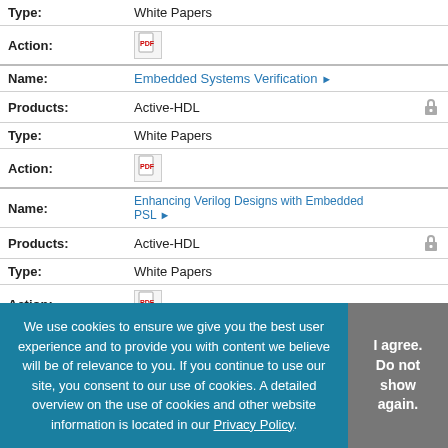| Type: | White Papers |
| Action: | [pdf icon] |
| Name: | Embedded Systems Verification ▶ |
| Products: | Active-HDL |
| Type: | White Papers |
| Action: | [pdf icon] |
| Name: | Enhancing Verilog Designs with Embedded PSL ▶ |
| Products: | Active-HDL |
| Type: | White Papers |
| Action: | [pdf icon] |
| Name: | Enhancing Verilog Designs with SVA ▶ |
| Products: | Active-HDL |
We use cookies to ensure we give you the best user experience and to provide you with content we believe will be of relevance to you. If you continue to use our site, you consent to our use of cookies. A detailed overview on the use of cookies and other website information is located in our Privacy Policy.
I agree. Do not show again.